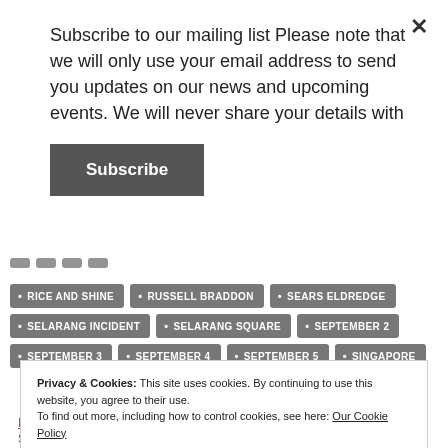Subscribe to our mailing list Please note that we will only use your email address to send you updates on our news and upcoming events. We will never share your details with
Subscribe
RICE AND SHINE
RUSSELL BRADDON
SEARS ELDREDGE
SELARANG INCIDENT
SELARANG SQUARE
SEPTEMBER 2
SEPTEMBER 3
SEPTEMBER 4
SEPTEMBER 5
SINGAPORE
Privacy & Cookies: This site uses cookies. By continuing to use this website, you agree to their use.
To find out more, including how to control cookies, see here: Our Cookie Policy
Close and accept
Been to an KFHG Conference before?
September 1, 2022